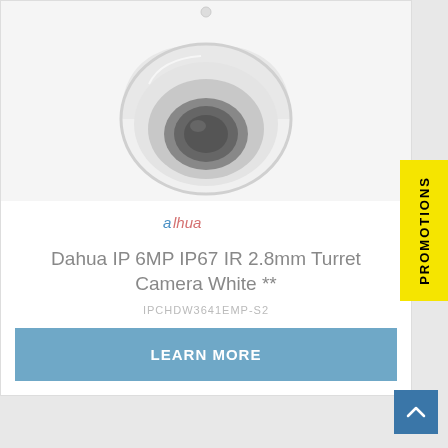[Figure (photo): Dahua turret security camera, white dome shape with dark lens, viewed from front-top angle, on light grey background]
[Figure (logo): Dahua brand logo in red/pink italic text]
Dahua IP 6MP IP67 IR 2.8mm Turret Camera White **
IPCHDW3641EMP-S2
LEARN MORE
PROMOTIONS